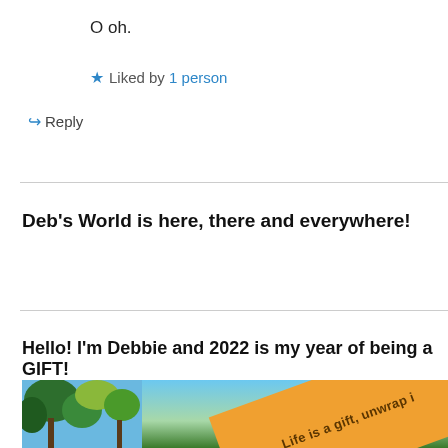O oh.
★ Liked by 1 person
↪ Reply
Deb's World is here, there and everywhere!
Hello! I'm Debbie and 2022 is my year of being a GIFT!
[Figure (photo): Outdoor photo with trees and blue sky, overlaid with a diagonal orange banner reading 'Life is a gift, unwrap i...']